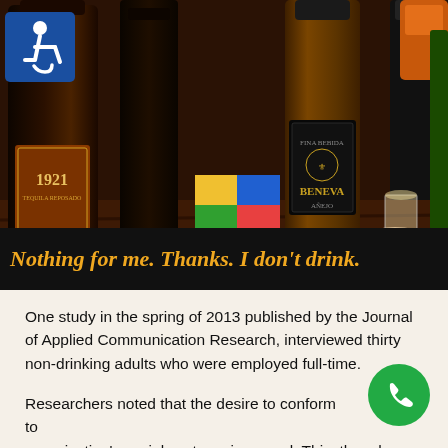[Figure (photo): Photo of multiple liquor bottles on a dark wooden bar surface, including a 1921 Tequila bottle and a Beneva bottle, with a shot glass being held by a hand on the right side. A blue wheelchair accessibility icon is visible in the top left corner of the photo.]
Nothing for me. Thanks. I don't drink.
One study in the spring of 2013 published by the Journal of Applied Communication Research, interviewed thirty non-drinking adults who were employed full-time.
Researchers noted that the desire to conform to an organization's social customs is normal. This, though,